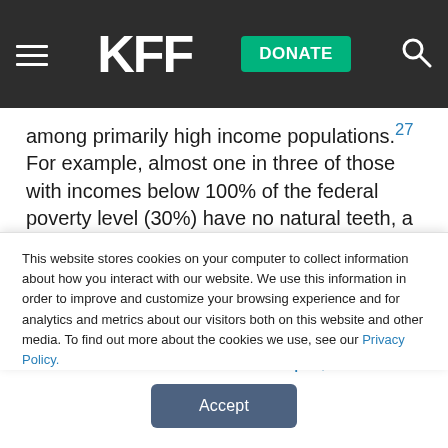KFF — DONATE
among primarily high income populations.27 For example, almost one in three of those with incomes below 100% of the federal poverty level (30%) have no natural teeth, a rate five times higher than those with incomes over 400% of the federal level (6%).28 There is also significant geographic variation in the number of older adults without teeth. For example, more than 30
This website stores cookies on your computer to collect information about how you interact with our website. We use this information in order to improve and customize your browsing experience and for analytics and metrics about our visitors both on this website and other media. To find out more about the cookies we use, see our Privacy Policy.
Accept